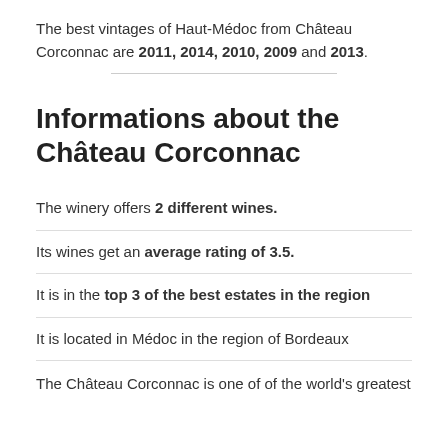The best vintages of Haut-Médoc from Château Corconnac are 2011, 2014, 2010, 2009 and 2013.
Informations about the Château Corconnac
The winery offers 2 different wines.
Its wines get an average rating of 3.5.
It is in the top 3 of the best estates in the region
It is located in Médoc in the region of Bordeaux
The Château Corconnac is one of of the world's greatest